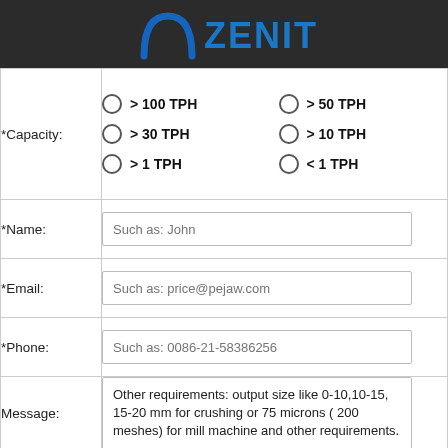[Figure (logo): Zenit company logo with stylized arch icon and bold blue ZENIT text on dark background]
| *Capacity: | > 100 TPH | > 50 TPH | > 30 TPH | > 10 TPH | > 1 TPH | < 1 TPH |
| *Name: | Such as: John |
| *Email: | Such as: price@pejaw.com |
| *Phone: | Such as: 0086-21-58386256 |
| Message: | Other requirements: output size like 0-10,10-15, 15-20 mm for crushing or 75 microns ( 200 meshes) for mill machine and other requirements. |